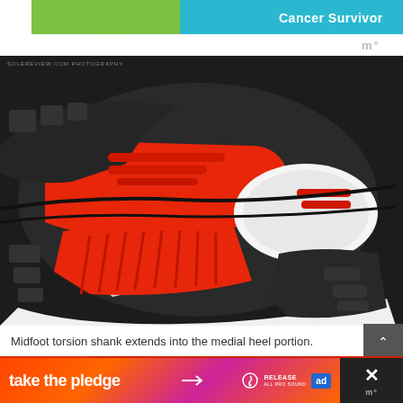[Figure (photo): Top banner advertisement with green and teal/cyan background sections showing 'Cancer Survivor' text in white on teal background]
[Figure (photo): Close-up photograph of the sole/outsole of a running shoe (adidas) showing dark rubber outsole with bright orange-red torsion shank system, white midsole foam, and tread pattern. Watermark reads SOLEREVIEW.COM PHOTOGRAPHY]
Midfoot torsion shank extends into the medial heel portion.
[Figure (photo): Partial view of next shoe photograph strip with orange-red background and SOLEREVIEW.COM PHOTO watermark]
[Figure (photo): Bottom advertisement banner with 'take the pledge' text in white bold on gradient orange-pink background, with arrow, RELEASE logo, and ad marker box. Right side shows X icon and watermark logo on dark background.]